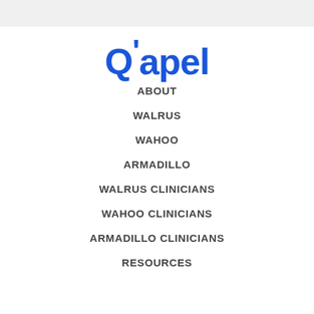[Figure (logo): Q'apel logo in bold blue text]
ABOUT
WALRUS
WAHOO
ARMADILLO
WALRUS CLINICIANS
WAHOO CLINICIANS
ARMADILLO CLINICIANS
RESOURCES